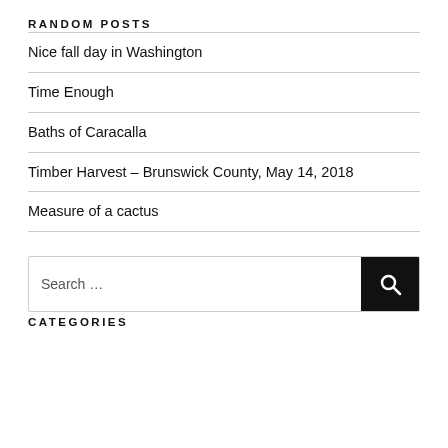RANDOM POSTS
Nice fall day in Washington
Time Enough
Baths of Caracalla
Timber Harvest – Brunswick County, May 14, 2018
Measure of a cactus
Search …
CATEGORIES